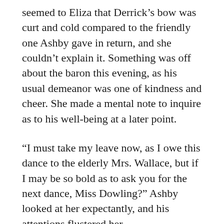seemed to Eliza that Derrick's bow was curt and cold compared to the friendly one Ashby gave in return, and she couldn't explain it. Something was off about the baron this evening, as his usual demeanor was one of kindness and cheer. She made a mental note to inquire as to his well-being at a later point.
“I must take my leave now, as I owe this dance to the elderly Mrs. Wallace, but if I may be so bold as to ask you for the next dance, Miss Dowling?” Ashby looked at her expectantly, and his attentions flustered her.
“Y–yes, that would be lovely.”